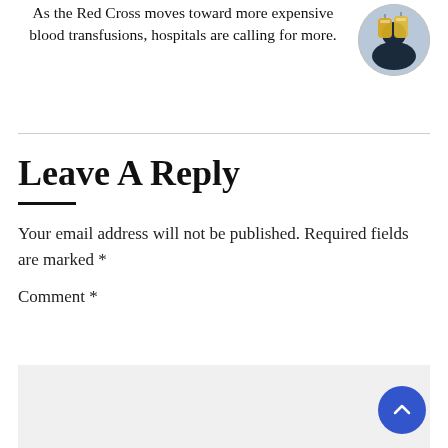As the Red Cross moves toward more expensive blood transfusions, hospitals are calling for more.
[Figure (photo): Circular photo of blood/plasma bags with yellow/amber colored liquid]
Leave A Reply
Your email address will not be published. Required fields are marked *
Comment *